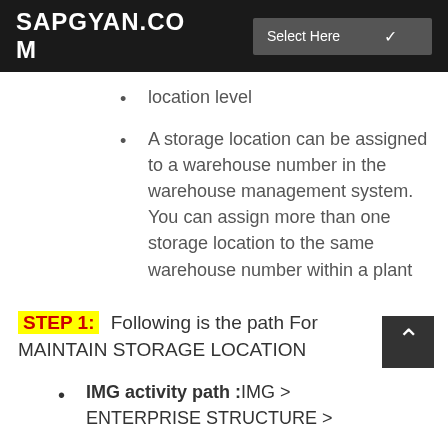SAPGYAN.COM
location level
A storage location can be assigned to a warehouse number in the warehouse management system. You can assign more than one storage location to the same warehouse number within a plant
STEP 1: Following is the path For MAINTAIN STORAGE LOCATION
IMG activity path :IMG > ENTERPRISE STRUCTURE >